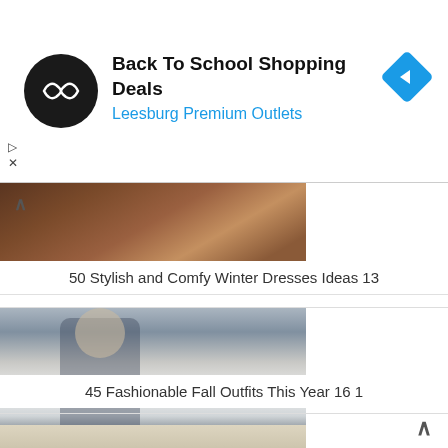[Figure (screenshot): Advertisement banner for 'Back To School Shopping Deals' at Leesburg Premium Outlets. Contains a circular dark logo with double-arrow icon, bold title text, blue subtitle, and a blue diamond navigation icon on the right. Small play and close icons on the left side.]
[Figure (photo): Partial image of a person's boots and lower legs, cropped at top. Warm brown tones suggesting fall/winter fashion.]
50 Stylish and Comfy Winter Dresses Ideas 13
[Figure (photo): Full photo of a blonde woman wearing a white t-shirt, striped cardigan, and blue jeans, holding a phone, standing outdoors on a street. Fall fashion outfit.]
45 Fashionable Fall Outfits This Year 16 1
[Figure (photo): Partial image at bottom showing a person wearing a white blouse and black pants with belt. Cropped view of outfit.]